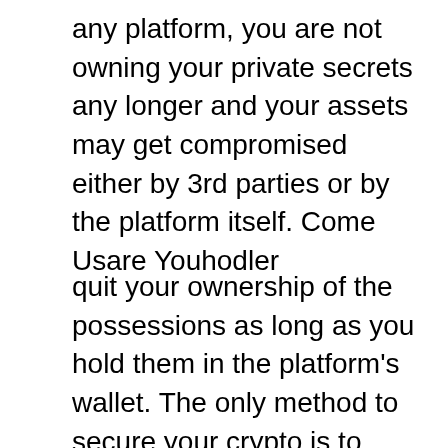any platform, you are not owning your private secrets any longer and your assets may get compromised either by 3rd parties or by the platform itself. Come Usare Youhodler
quit your ownership of the possessions as long as you hold them in the platform's wallet. The only method to secure your crypto is to store it on a devoted hardware wallet like this one from Trezor. That's the very best method to keep your cryptos safe. The drawback of this technique is that you will just gain from the increased worth of your coin however not the interest on your deposits, which is something you can do on